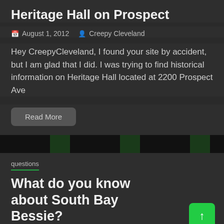Heritage Hall on Prospect
📅 August 1, 2012   👤 Creepy Cleveland
Hey CreepyCleveland, I found your site by accident, but I am glad that I did. I was trying to find historical information on Heritage Hall located at 2200 Prospect Ave
Read More
questions
What do you know about South Bay Bessie?
📅 July 12, 2012   👤 Creepy Cleveland
I know I don't get much in the way of stories here